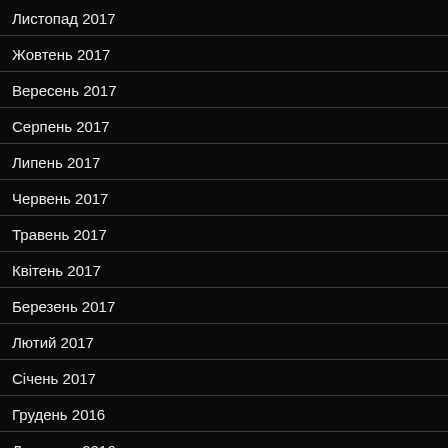Листопад 2017
Жовтень 2017
Вересень 2017
Серпень 2017
Липень 2017
Червень 2017
Травень 2017
Квітень 2017
Березень 2017
Лютий 2017
Січень 2017
Грудень 2016
Листопад 2016